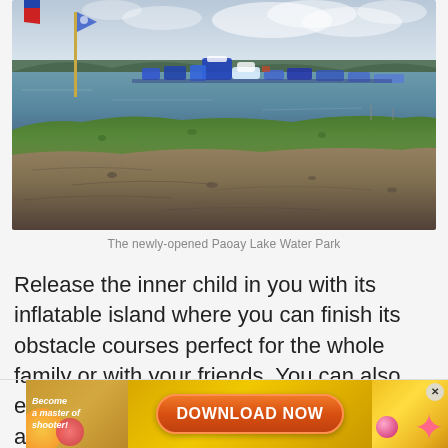[Figure (photo): Outdoor photo of the newly-opened Paoay Lake Water Park showing inflatable obstacle course structures floating on a lake, with a grassy shoreline in the foreground and cloudy sky in the background. A flag is visible on the left.]
The newly-opened Paoay Lake Water Park
Release the inner child in you with its inflatable island where you can finish its obstacle courses perfect for the whole family or with your friends. You can also enjoy the water park's kayaking activity at the long-range waters of Paoay Lake.
[Figure (other): Advertisement banner: 'Become a master of shooter! DOWNLOAD NOW' with game imagery]